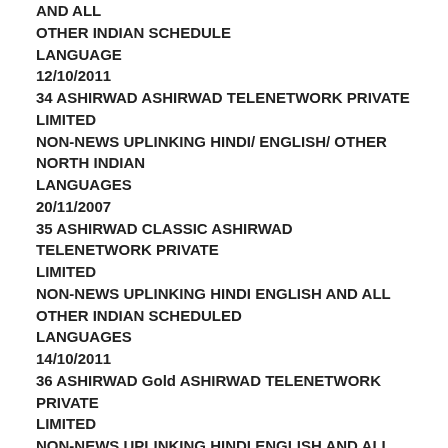AND ALL
OTHER INDIAN SCHEDULE
LANGUAGE
12/10/2011
34 ASHIRWAD ASHIRWAD TELENETWORK PRIVATE LIMITED
NON-NEWS UPLINKING HINDI/ ENGLISH/ OTHER
NORTH INDIAN
LANGUAGES
20/11/2007
35 ASHIRWAD CLASSIC ASHIRWAD TELENETWORK PRIVATE LIMITED
NON-NEWS UPLINKING HINDI ENGLISH AND ALL
OTHER INDIAN SCHEDULED
LANGUAGES
14/10/2011
36 ASHIRWAD Gold ASHIRWAD TELENETWORK PRIVATE LIMITED
NON-NEWS UPLINKING HINDI ENGLISH AND ALL
OTHER INDIAN SCHEDULED
LANGUAGES
14/10/2011